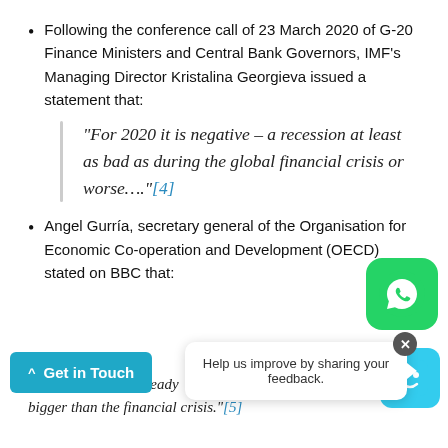Following the conference call of 23 March 2020 of G-20 Finance Ministers and Central Bank Governors, IMF's Managing Director Kristalina Georgieva issued a statement that:
“For 2020 it is negative – a recession at least as bad as during the global financial crisis or worse....”[4]
Angel Gurría, secretary general of the Organisation for Economic Co-operation and Development (OECD) stated on BBC that:
“...nomic shock was already bigger than the financial crisis.”[5]